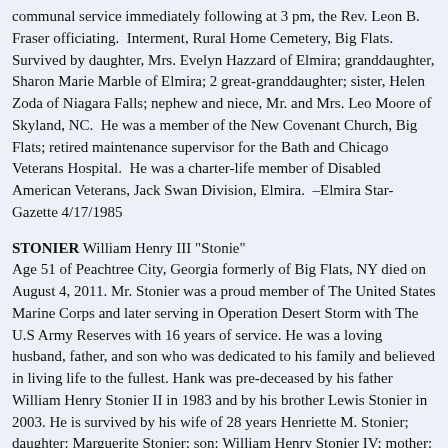communal service immediately following at 3 pm, the Rev. Leon B. Fraser officiating. Interment, Rural Home Cemetery, Big Flats. Survived by daughter, Mrs. Evelyn Hazzard of Elmira; granddaughter, Sharon Marie Marble of Elmira; 2 great-granddaughter; sister, Helen Zoda of Niagara Falls; nephew and niece, Mr. and Mrs. Leo Moore of Skyland, NC. He was a member of the New Covenant Church, Big Flats; retired maintenance supervisor for the Bath and Chicago Veterans Hospital. He was a charter-life member of Disabled American Veterans, Jack Swan Division, Elmira. –Elmira Star-Gazette 4/17/1985
STONIER William Henry III "Stonie" Age 51 of Peachtree City, Georgia formerly of Big Flats, NY died on August 4, 2011. Mr. Stonier was a proud member of The United States Marine Corps and later serving in Operation Desert Storm with The U.S Army Reserves with 16 years of service. He was a loving husband, father, and son who was dedicated to his family and believed in living life to the fullest. Hank was pre-deceased by his father William Henry Stonier II in 1983 and by his brother Lewis Stonier in 2003. He is survived by his wife of 28 years Henriette M. Stonier; daughter: Marguerite Stonier; son: William Henry Stonier IV; mother: Esther Stonier of Big Flats, NY; sisters and brothers-in-law: Cindy & David Adams of Campbell, NY and Linda & George Stafford of Smithfield, NC; brothers and sisters-in-law: Lynn & Sabine Stonier of Savona, NY and Donald & Lynn Stonier of Big Flats, NY; several pieces, nephews, cousins, and a